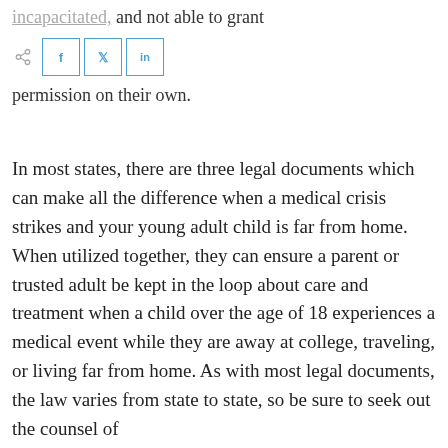incapacitated, and not able to grant permission on their own.
In most states, there are three legal documents which can make all the difference when a medical crisis strikes and your young adult child is far from home. When utilized together, they can ensure a parent or trusted adult be kept in the loop about care and treatment when a child over the age of 18 experiences a medical event while they are away at college, traveling, or living far from home. As with most legal documents, the law varies from state to state, so be sure to seek out the counsel of